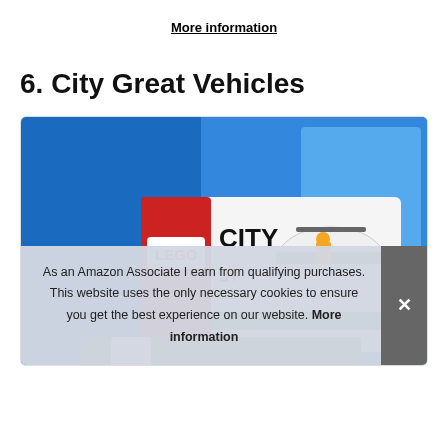More information
6. City Great Vehicles
[Figure (photo): LEGO City Great Vehicles set box showing a helicopter model, product 60249, age 5+]
As an Amazon Associate I earn from qualifying purchases. This website uses the only necessary cookies to ensure you get the best experience on our website. More information